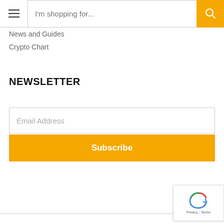I'm shopping for...
News and Guides
Crypto Chart
NEWSLETTER
Email Address
Subscribe
[Figure (other): reCAPTCHA badge with arrow icon and Privacy - Terms text]